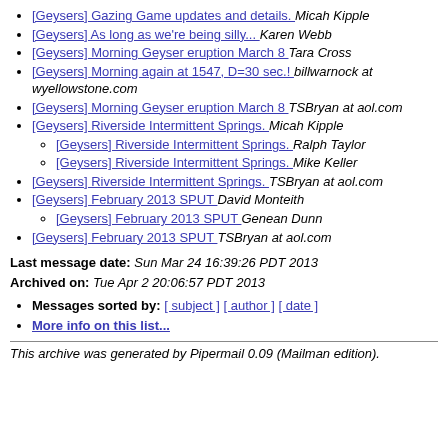[Geysers] Gazing Game updates and details.  Micah Kipple
[Geysers] As long as we're being silly...  Karen Webb
[Geysers] Morning Geyser eruption March 8  Tara Cross
[Geysers] Morning again at 1547, D=30 sec.!  billwarnock at wyellowstone.com
[Geysers] Morning Geyser eruption March 8  TSBryan at aol.com
[Geysers] Riverside Intermittent Springs.  Micah Kipple
[Geysers] Riverside Intermittent Springs.  Ralph Taylor
[Geysers] Riverside Intermittent Springs.  Mike Keller
[Geysers] Riverside Intermittent Springs.  TSBryan at aol.com
[Geysers] February 2013 SPUT  David Monteith
[Geysers] February 2013 SPUT  Genean Dunn
[Geysers] February 2013 SPUT  TSBryan at aol.com
Last message date: Sun Mar 24 16:39:26 PDT 2013
Archived on: Tue Apr 2 20:06:57 PDT 2013
Messages sorted by: [ subject ] [ author ] [ date ]
More info on this list...
This archive was generated by Pipermail 0.09 (Mailman edition).